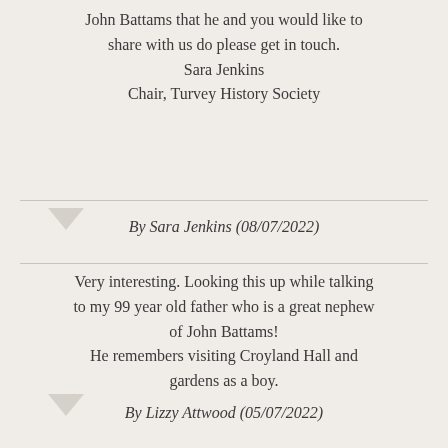John Battams that he and you would like to share with us do please get in touch.
Sara Jenkins
Chair, Turvey History Society
By Sara Jenkins (08/07/2022)
Very interesting. Looking this up while talking to my 99 year old father who is a great nephew of John Battams!
He remembers visiting Croyland Hall and gardens as a boy.
By Lizzy Attwood (05/07/2022)